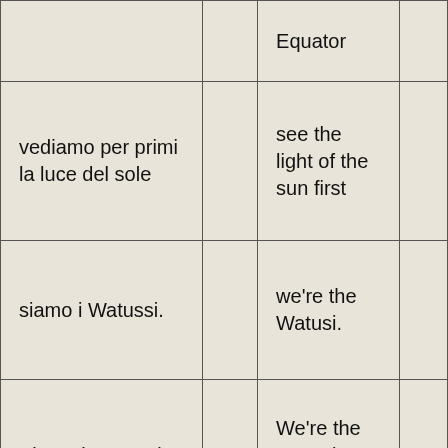|  |  | Equator |  |
| vediamo per primi la luce del sole |  | see the light of the sun first |  |
| siamo i Watussi. |  | we're the Watusi. |  |
| Siamo i Watussi, siamo i Watussi, |  | We're the Watusi, we're the Watusi, |  |
| gli altissimi negri |  | the very tall |  |